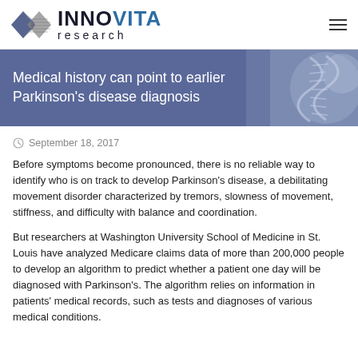[Figure (logo): Innovita Research logo with interlinked circles icon and bold text INNOVITA research]
Medical history can point to earlier Parkinson's disease diagnosis
September 18, 2017
Before symptoms become pronounced, there is no reliable way to identify who is on track to develop Parkinson’s disease, a debilitating movement disorder characterized by tremors, slowness of movement, stiffness, and difficulty with balance and coordination.
But researchers at Washington University School of Medicine in St. Louis have analyzed Medicare claims data of more than 200,000 people to develop an algorithm to predict whether a patient one day will be diagnosed with Parkinson’s. The algorithm relies on information in patients’ medical records, such as tests and diagnoses of various medical conditions.